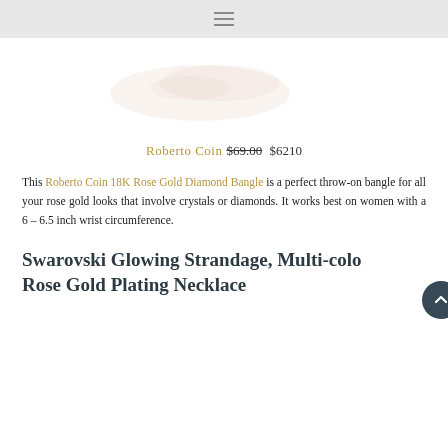≡
[Figure (photo): Partial product image of a rose gold bangle/jewelry item, faint and mostly cropped, on white background]
Roberto Coin $69.00 $6210
This Roberto Coin 18K Rose Gold Diamond Bangle is a perfect throw-on bangle for all your rose gold looks that involve crystals or diamonds. It works best on women with a 6 – 6.5 inch wrist circumference.
Swarovski Glowing Strandage, Multi-color Rose Gold Plating Necklace